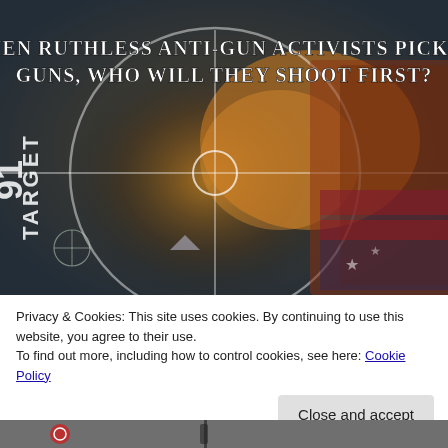[Figure (illustration): Dark tactical/gun-themed image with rifle scope crosshairs overlay. Text reads 'WHEN RUTHLESS ANTI-GUN ACTIVISTS PICK UP GUNS, WHO WILL THEY SHOOT FIRST?' overlaid on a dark background showing a gun barrel and American flag imagery. Vertical text 'TARGET' and '91' visible on left side rotated 90 degrees.]
Privacy & Cookies: This site uses cookies. By continuing to use this website, you agree to their use.
To find out more, including how to control cookies, see here: Cookie Policy
Close and accept
[Figure (photo): Partial image at bottom of page showing what appears to be a gun-related image, partially cut off.]